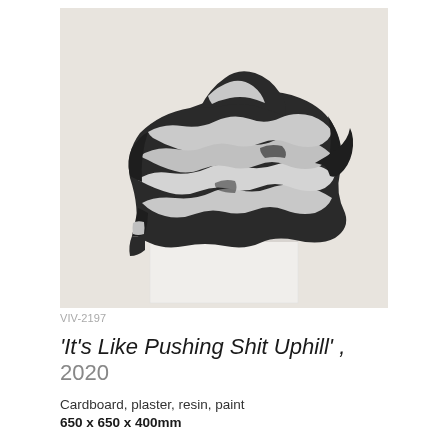[Figure (photo): A black and white striped crumpled sculptural form sitting on a white plinth/pedestal against a light grey-cream background. The sculpture appears to be made of compressed or folded material with alternating black and white/grey stripes creating a dynamic geometric pattern.]
VIV-2197
'It's Like Pushing Shit Uphill' , 2020
Cardboard, plaster, resin, paint
650 x 650 x 400mm